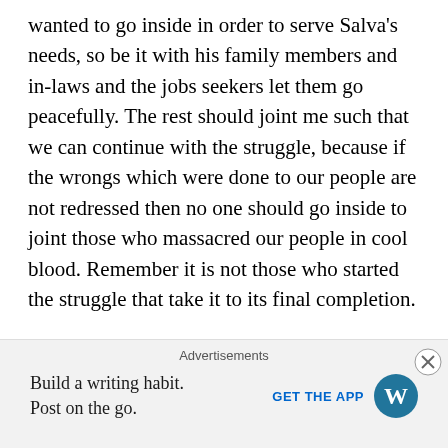wanted to go inside in order to serve Salva's needs, so be it with his family members and in-laws and the jobs seekers let them go peacefully. The rest should joint me such that we can continue with the struggle, because if the wrongs which were done to our people are not redressed then no one should go inside to joint those who massacred our people in cool blood. Remember it is not those who started the struggle that take it to its final completion.

Another, advice goes to our Chief of General Staffs and his D/COGS for operations because the two gentlemen are the ones with their other colleagues, which the fate of our people depended upon them. So please do not allow our people to be made vulnerable by fools; because they do not deserve
Advertisements
Build a writing habit.
Post on the go.
GET THE APP